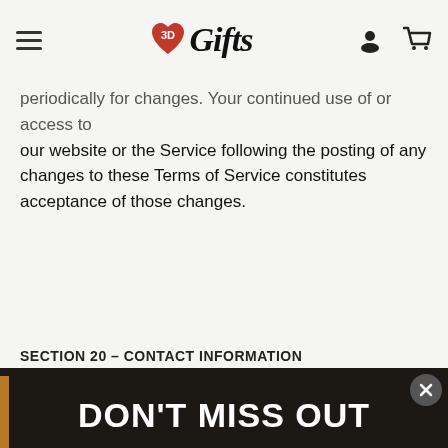3D Gifts
periodically for changes. Your continued use of or access to our website or the Service following the posting of any changes to these Terms of Service constitutes acceptance of those changes.
SECTION 20 – CONTACT INFORMATION
[Figure (screenshot): Modal popup with dark background. Title: DON'T MISS OUT. Subtitle: Save 20% off your first order when you sign up. Email address input field. GET 20% OFF button in red. Close button (X) in top-right corner.]